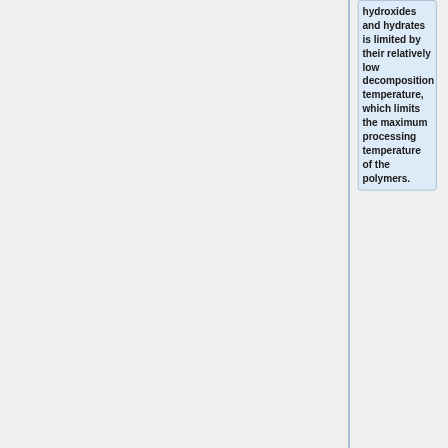hydroxides and hydrates is limited by their relatively low decomposition temperature, which limits the maximum processing temperature of the polymers.
+
- by Dilution of Fuel: Inert fillers, eg. talc or calcium carbonate, act as diluents, lowering the combustible portion of the material, thu...